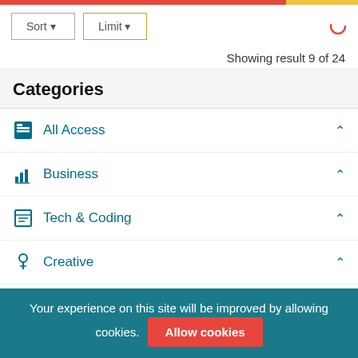[Figure (screenshot): Top navigation bar with Sort and Limit dropdown buttons and a loading spinner]
Showing result 9 of 24
Categories
All Access
Business
Tech & Coding
Creative
Coder
Your experience on this site will be improved by allowing cookies. Allow cookies